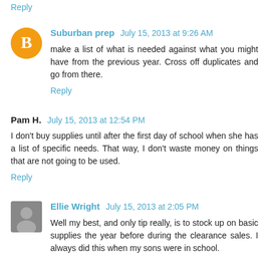Reply
Suburban prep  July 15, 2013 at 9:26 AM
make a list of what is needed against what you might have from the previous year. Cross off duplicates and go from there.
Reply
Pam H.  July 15, 2013 at 12:54 PM
I don't buy supplies until after the first day of school when she has a list of specific needs. That way, I don't waste money on things that are not going to be used.
Reply
Ellie Wright  July 15, 2013 at 2:05 PM
Well my best, and only tip really, is to stock up on basic supplies the year before during the clearance sales. I always did this when my sons were in school.